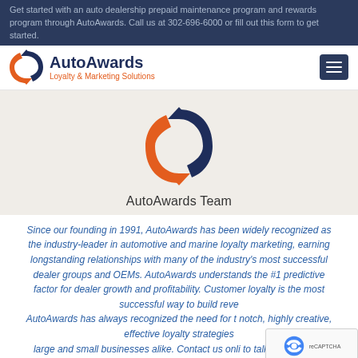Get started with an auto dealership prepaid maintenance program and rewards program through AutoAwards. Call us at 302-696-6000 or fill out this form to get started.
[Figure (logo): AutoAwards logo with circular arrow icon in navy blue and orange, text reads AutoAwards Loyalty & Marketing Solutions]
[Figure (logo): Hamburger menu icon (three horizontal lines) on dark navy background]
[Figure (logo): AutoAwards circular arrow logo icon, large, in navy blue and orange on beige background]
AutoAwards Team
Since our founding in 1991, AutoAwards has been widely recognized as the industry-leader in automotive and marine loyalty marketing, earning longstanding relationships with many of the industry's most successful dealer groups and OEMs. AutoAwards understands the #1 predictive factor for dealer growth and profitability. Customer loyalty is the most successful way to build revenue. AutoAwards has always recognized the need for top-notch, highly creative, effective loyalty strategies for large and small businesses alike. Contact us online to talk about dealer loyalty or call 302-696-6000.